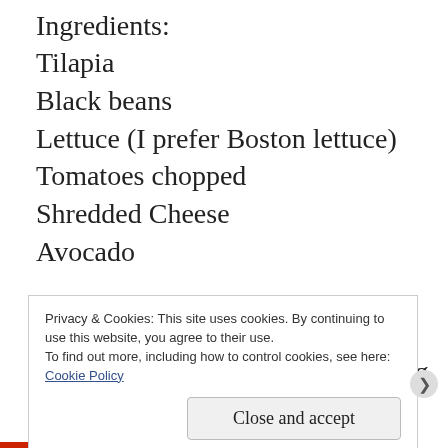Ingredients:
Tilapia
Black beans
Lettuce (I prefer Boston lettuce)
Tomatoes chopped
Shredded Cheese
Avocado
Lime Juice
Directions: Place tin foil on baking sheet and put tilapia on pan. Place lime juice on tilapia and then season with
Privacy & Cookies: This site uses cookies. By continuing to use this website, you agree to their use.
To find out more, including how to control cookies, see here: Cookie Policy
Close and accept